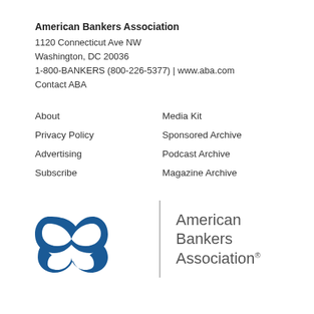American Bankers Association
1120 Connecticut Ave NW
Washington, DC 20036
1-800-BANKERS (800-226-5377) | www.aba.com
Contact ABA
About
Privacy Policy
Advertising
Subscribe
Media Kit
Sponsored Archive
Podcast Archive
Magazine Archive
[Figure (logo): American Bankers Association logo — stylized double-loop ABA symbol in blue with a vertical gray divider and 'American Bankers Association®' text in gray to the right]